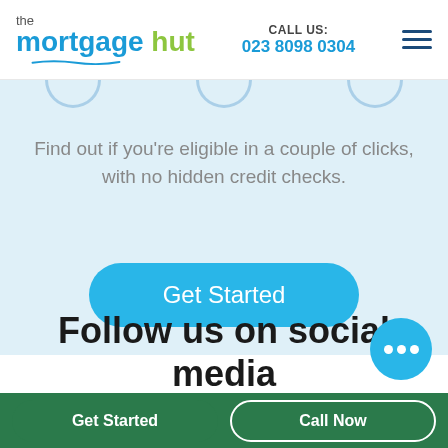the mortgage hut | CALL US: 023 8098 0304
Find out if you're eligible in a couple of clicks, with no hidden credit checks.
Get Started
Follow us on social media for updates
Get Started
Call Now